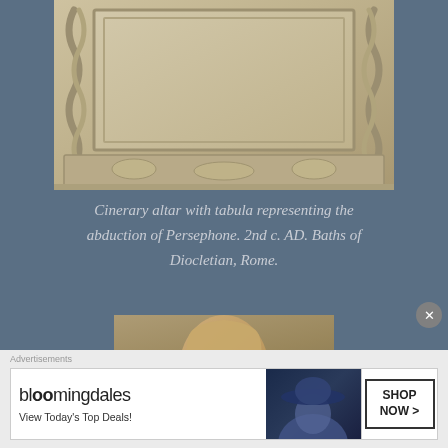[Figure (photo): Close-up of a carved stone cinerary altar base, showing a rectangular tabula (blank inscription panel) framed by twisted rope molding on the sides, with relief carvings along the bottom frieze depicting the abduction of Persephone. The stone is pale limestone or marble, photographed against a neutral background.]
Cinerary altar with tabula representing the abduction of Persephone. 2nd c. AD. Baths of Diocletian, Rome.
[Figure (photo): Partial view of a terracotta or bronze-toned bust of a female figure, likely Persephone or a similar goddess, with draped head covering and serene facial features, photographed against a warm neutral background.]
Advertisements
[Figure (other): Bloomingdales advertisement banner reading 'bloomingdales View Today's Top Deals!' with an image of a woman in a large blue hat and a 'SHOP NOW >' button on the right.]